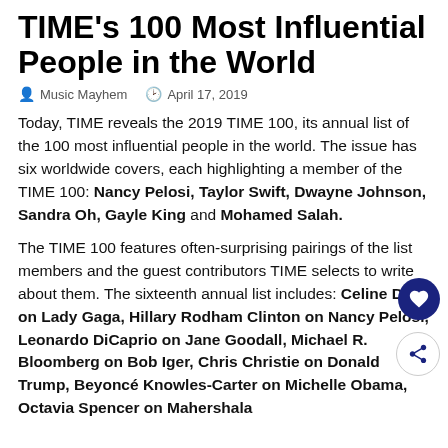TIME's 100 Most Influential People in the World
Music Mayhem   April 17, 2019
Today, TIME reveals the 2019 TIME 100, its annual list of the 100 most influential people in the world. The issue has six worldwide covers, each highlighting a member of the TIME 100: Nancy Pelosi, Taylor Swift, Dwayne Johnson, Sandra Oh, Gayle King and Mohamed Salah.
The TIME 100 features often-surprising pairings of the list members and the guest contributors TIME selects to write about them. The sixteenth annual list includes: Celine Dion on Lady Gaga, Hillary Rodham Clinton on Nancy Pelosi, Leonardo DiCaprio on Jane Goodall, Michael R. Bloomberg on Bob Iger, Chris Christie on Donald Trump, Beyoncé Knowles-Carter on Michelle Obama, Octavia Spencer on Mahershala